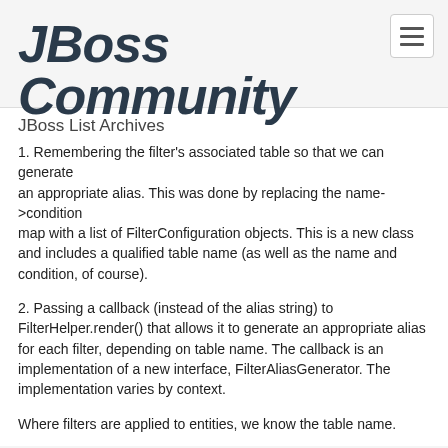JBoss Community
JBoss List Archives
1. Remembering the filter's associated table so that we can generate an appropriate alias. This was done by replacing the name->condition map with a list of FilterConfiguration objects. This is a new class and includes a qualified table name (as well as the name and condition, of course).
2. Passing a callback (instead of the alias string) to FilterHelper.render() that allows it to generate an appropriate alias for each filter, depending on table name. The callback is an implementation of a new interface, FilterAliasGenerator. The implementation varies by context.
Where filters are applied to entities, we know the table name.